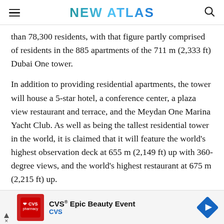NEW ATLAS
than 78,300 residents, with that figure partly comprised of residents in the 885 apartments of the 711 m (2,333 ft) Dubai One tower.
In addition to providing residential apartments, the tower will house a 5-star hotel, a conference center, a plaza view restaurant and terrace, and the Meydan One Marina Yacht Club. As well as being the tallest residential tower in the world, it is claimed that it will feature the world's highest observation deck at 655 m (2,149 ft) up with 360-degree views, and the world's highest restaurant at 675 m (2,215 ft) up.
[Figure (screenshot): CVS Epic Beauty Event advertisement banner at the bottom of the page]